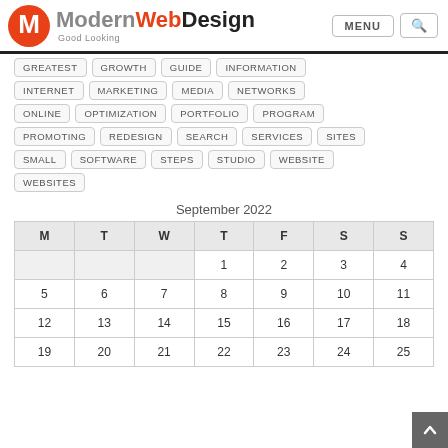[Figure (logo): ModernWebDesign logo with orange M icon and text 'Modern Web Design Good Looking']
GREATEST
GROWTH
GUIDE
INFORMATION
INTERNET
MARKETING
MEDIA
NETWORKS
ONLINE
OPTIMIZATION
PORTFOLIO
PROGRAM
PROMOTING
REDESIGN
SEARCH
SERVICES
SITES
SMALL
SOFTWARE
STEPS
STUDIO
WEBSITE
WEBSITES
September 2022
| M | T | W | T | F | S | S |
| --- | --- | --- | --- | --- | --- | --- |
|  |  |  | 1 | 2 | 3 | 4 |
| 5 | 6 | 7 | 8 | 9 | 10 | 11 |
| 12 | 13 | 14 | 15 | 16 | 17 | 18 |
| 19 | 20 | 21 | 22 | 23 | 24 | 25 |